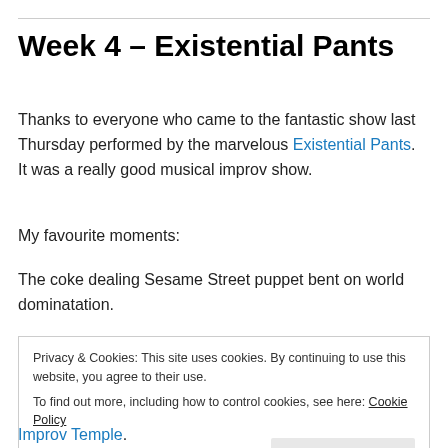Week 4 – Existential Pants
Thanks to everyone who came to the fantastic show last Thursday performed by the marvelous Existential Pants.  It was a really good musical improv show.
My favourite moments:
The coke dealing Sesame Street puppet bent on world dominatation.
Privacy & Cookies: This site uses cookies. By continuing to use this website, you agree to their use.
To find out more, including how to control cookies, see here: Cookie Policy
Improv Temple.